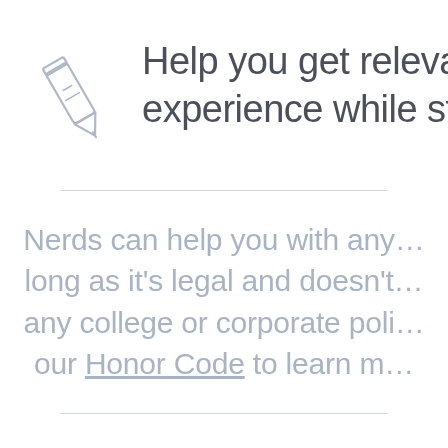[Figure (illustration): Pencil icon, outline style, gray color]
Help you get relevant experience while stu...
Nerds can help you with any... long as it's legal and doesn't... any college or corporate poli... our Honor Code to learn m...